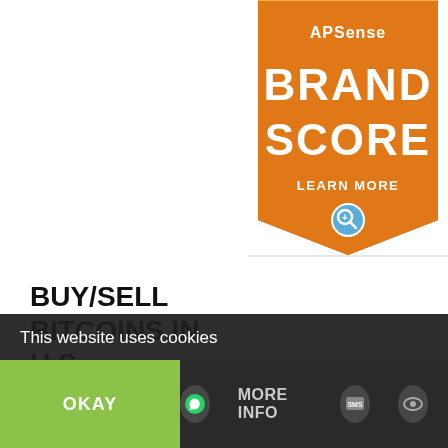[Figure (logo): APSense Brand Score badge - orange shield/ribbon shape with text 'APSense', 'BRAND', 'SCORE', 'LEARN MORE' and a magnifying glass icon]
BUY/SELL BITCOINS IN U.S.
BUY AND SELL BITCOINS
This website uses cookies
OKAY
MORE INFO